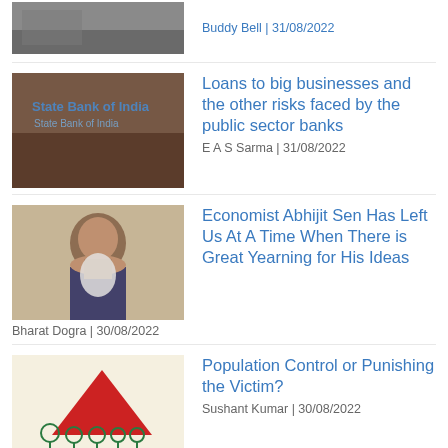Buddy Bell | 31/08/2022
[Figure (photo): State Bank of India sign on brick wall]
Loans to big businesses and the other risks faced by the public sector banks
E A S Sarma | 31/08/2022
[Figure (photo): Portrait of elderly man with white beard]
Economist Abhijit Sen Has Left Us At  A Time When There is Great Yearning for His Ideas
Bharat Dogra | 30/08/2022
[Figure (illustration): Illustration of family figures with red triangle, population control graphic]
Population Control or Punishing the Victim?
Sushant Kumar | 30/08/2022
Climate Scientists Call For Civil Disobedience
Countercurrents Collective | 30/08/2022